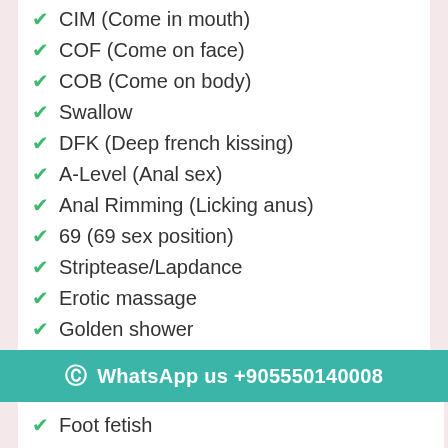CIM (Come in mouth)
COF (Come on face)
COB (Come on body)
Swallow
DFK (Deep french kissing)
A-Level (Anal sex)
Anal Rimming (Licking anus)
69 (69 sex position)
Striptease/Lapdance
Erotic massage
Golden shower
Couples
GFE (Girlfriend experience)
WhatsApp us +905550140008
Foot fetish